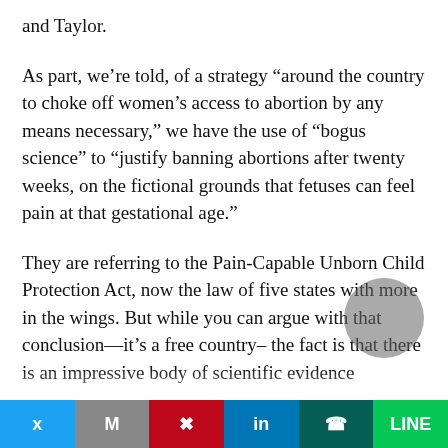and Taylor.
As part, we’re told, of a strategy “around the country to choke off women’s access to abortion by any means necessary,” we have the use of “bogus science” to “justify banning abortions after twenty weeks, on the fictional grounds that fetuses can feel pain at that gestational age.”
They are referring to the Pain-Capable Unborn Child Protection Act, now the law of five states with more in the wings. But while you can argue with that conclusion—it’s a free country– the fact is that there is an impressive body of scientific evidence
Twitter | Gmail | Pinterest | LinkedIn | WhatsApp | LINE